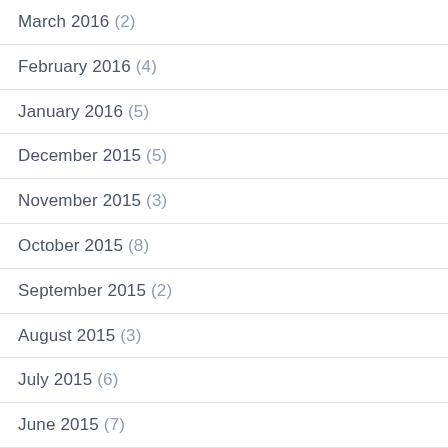March 2016 (2)
February 2016 (4)
January 2016 (5)
December 2015 (5)
November 2015 (3)
October 2015 (8)
September 2015 (2)
August 2015 (3)
July 2015 (6)
June 2015 (7)
May 2015 (4)
April 2015 (4)